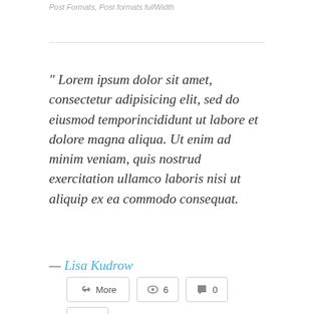Post Formats, Post formats fullWidth
" Lorem ipsum dolor sit amet, consectetur adipisicing elit, sed do eiusmod temporincididunt ut labore et dolore magna aliqua. Ut enim ad minim veniam, quis nostrud exercitation ullamco laboris nisi ut aliquip ex ea commodo consequat.
— Lisa Kudrow
More  6  0
0